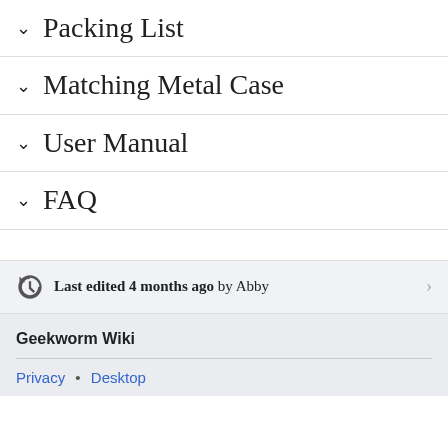Packing List
Matching Metal Case
User Manual
FAQ
Last edited 4 months ago by Abby
Geekworm Wiki
Privacy • Desktop